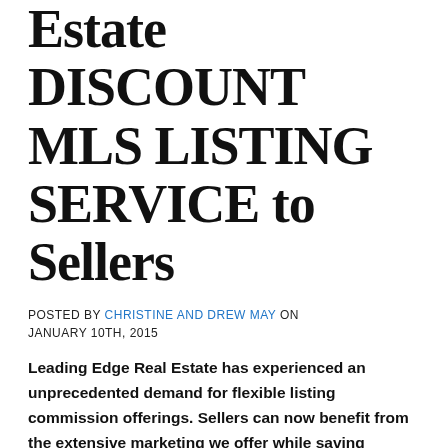Estate DISCOUNT MLS LISTING SERVICE to Sellers
POSTED BY CHRISTINE AND DREW MAY ON JANUARY 10TH, 2015
Leading Edge Real Estate has experienced an unprecedented demand for flexible listing commission offerings. Sellers can now benefit from the extensive marketing we offer while saving substantial dollars on the listing side of the transaction. For more details, see the schedule below and as always, we're